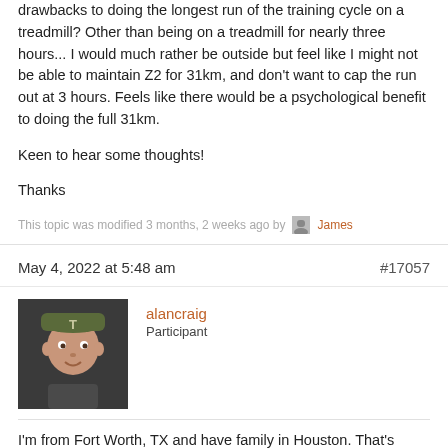drawbacks to doing the longest run of the training cycle on a treadmill? Other than being on a treadmill for nearly three hours... I would much rather be outside but feel like I might not be able to maintain Z2 for 31km, and don't want to cap the run out at 3 hours. Feels like there would be a psychological benefit to doing the full 31km.

Keen to hear some thoughts!

Thanks
This topic was modified 3 months, 2 weeks ago by James
May 4, 2022 at 5:48 am
#17057
alancraig
Participant
I'm from Fort Worth, TX and have family in Houston. That's actually where my dad grew up. It can be rough! I'm sure you'll get different opinions here, but I would